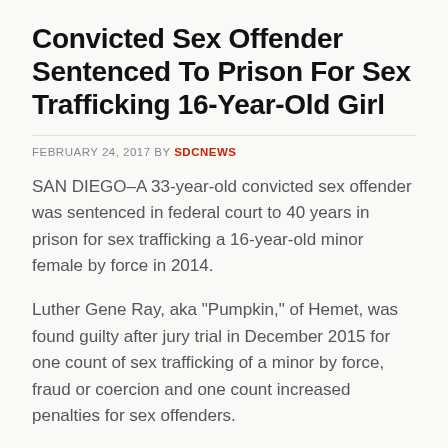Convicted Sex Offender Sentenced To Prison For Sex Trafficking 16-Year-Old Girl
FEBRUARY 24, 2017 BY SDCNEWS
SAN DIEGO–A 33-year-old convicted sex offender was sentenced in federal court to 40 years in prison for sex trafficking a 16-year-old minor female by force in 2014.
Luther Gene Ray, aka "Pumpkin," of Hemet, was found guilty after jury trial in December 2015 for one count of sex trafficking of a minor by force, fraud or coercion and one count increased penalties for sex offenders.